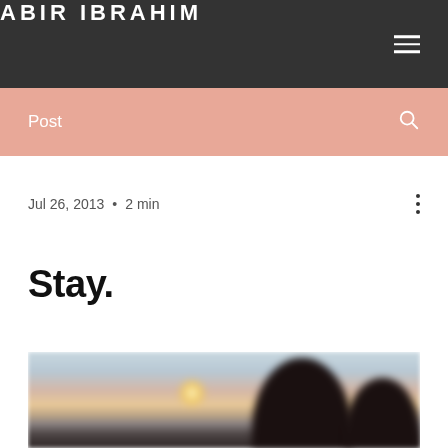ABIR IBRAHIM
Post
Jul 26, 2013 · 2 min
Stay.
[Figure (photo): Blurred silhouette photo of two people against a sunset sky over water]